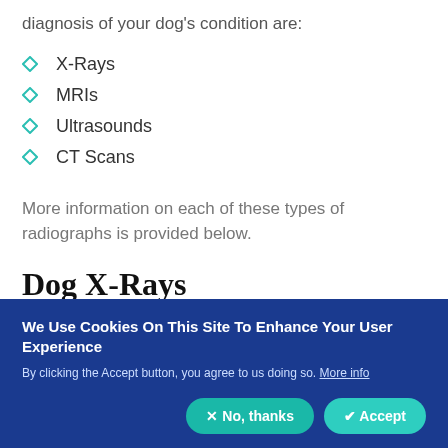diagnosis of your dog's condition are:
X-Rays
MRIs
Ultrasounds
CT Scans
More information on each of these types of radiographs is provided below.
Dog X-Rays
We Use Cookies On This Site To Enhance Your User Experience
By clicking the Accept button, you agree to us doing so. More info